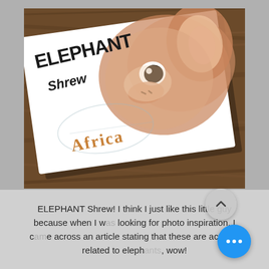[Figure (photo): A watercolor artwork card placed on a wooden surface. The card shows a close-up painting of an elephant shrew face with large eyes and a long nose. Hand-lettered text on the card reads 'ELEPHANT shrew' in black and 'Africa' in orange/peach lettering.]
ELEPHANT Shrew! I think I just like this little guy because when I was looking for photo inspiration, I came across an article stating that these are actually related to elephants, wow!